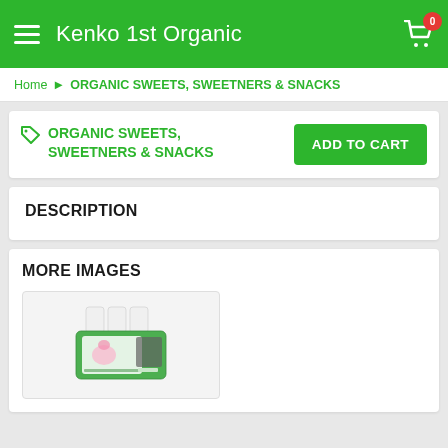Kenko 1st Organic
Home › ORGANIC SWEETS, SWEETNERS & SNACKS
ORGANIC SWEETS, SWEETNERS & SNACKS
ADD TO CART
DESCRIPTION
MORE IMAGES
[Figure (photo): A product thumbnail showing a packaged organic candy/sweet product with green and white packaging, displayed on a light gray background.]